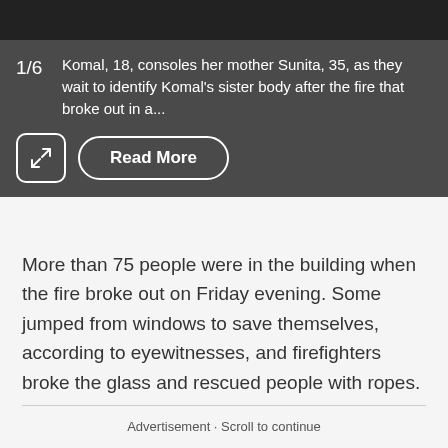[Figure (photo): Dark image strip at top, partial photo of people]
1/6  Komal, 18, consoles her mother Sunita, 35, as they wait to identify Komal's sister body after the fire that broke out in a...
More than 75 people were in the building when the fire broke out on Friday evening. Some jumped from windows to save themselves, according to eyewitnesses, and firefighters broke the glass and rescued people with ropes.
Advertisement · Scroll to continue